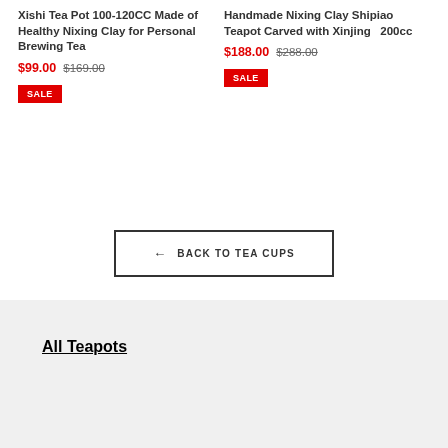Xishi Tea Pot 100-120CC Made of Healthy Nixing Clay for Personal Brewing Tea
$99.00 $169.00
SALE
Handmade Nixing Clay Shipiao Teapot Carved with Xinjing 200cc
$188.00 $288.00
SALE
← BACK TO TEA CUPS
All Teapots